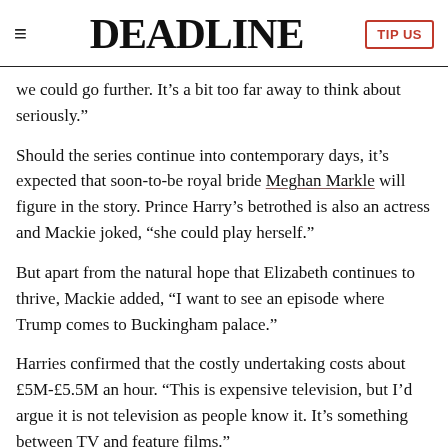DEADLINE
we could go further. It’s a bit too far away to think about seriously.”
Should the series continue into contemporary days, it’s expected that soon-to-be royal bride Meghan Markle will figure in the story. Prince Harry’s betrothed is also an actress and Mackie joked, “she could play herself.”
But apart from the natural hope that Elizabeth continues to thrive, Mackie added, “I want to see an episode where Trump comes to Buckingham palace.”
Harries confirmed that the costly undertaking costs about £5M-£5.5M an hour. “This is expensive television, but I’d argue it is not television as people know it. It’s something between TV and feature films.”
He touched on having pitched the show to some U.S. and UK